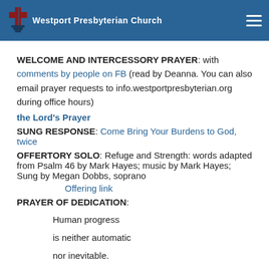Westport Presbyterian Church
WELCOME AND INTERCESSORY PRAYER: with comments by people on FB (read by Deanna. You can also email prayer requests to info.westportpresbyterian.org during office hours)
the Lord's Prayer
SUNG RESPONSE: Come Bring Your Burdens to God, twice
OFFERTORY SOLO: Refuge and Strength: words adapted from Psalm 46 by Mark Hayes; music by Mark Hayes; Sung by Megan Dobbs, soprano
Offering link
PRAYER OF DEDICATION:
Human progress
is neither automatic
nor inevitable.
Every step